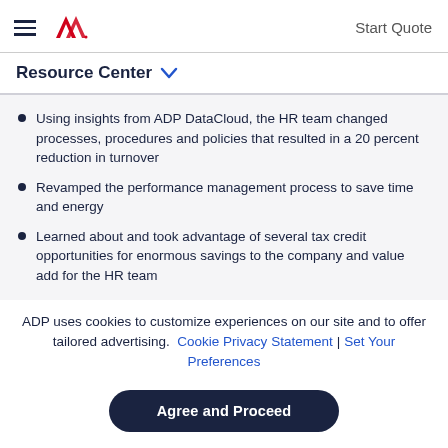ADP — Start Quote
Resource Center
Using insights from ADP DataCloud, the HR team changed processes, procedures and policies that resulted in a 20 percent reduction in turnover
Revamped the performance management process to save time and energy
Learned about and took advantage of several tax credit opportunities for enormous savings to the company and value add for the HR team
ADP uses cookies to customize experiences on our site and to offer tailored advertising. Cookie Privacy Statement | Set Your Preferences
Agree and Proceed